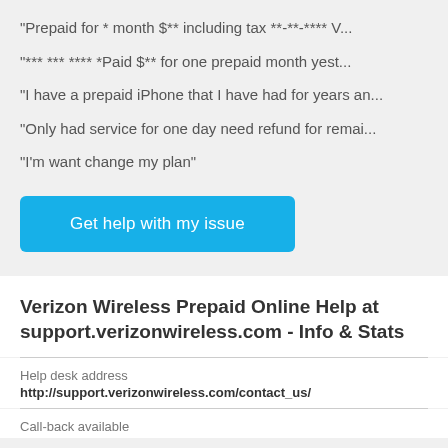"Prepaid for * month $** including tax **-**-**** V...
"*** *** **** *Paid $** for one prepaid month yest...
"I have a prepaid iPhone that I have had for years an...
"Only had service for one day need refund for remai...
"I'm want change my plan"
Get help with my issue
Verizon Wireless Prepaid Online Help at support.verizonwireless.com - Info & Stats
Help desk address
http://support.verizonwireless.com/contact_us/
Call-back available